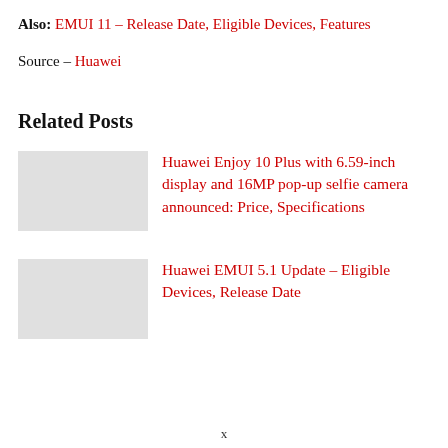Also: EMUI 11 – Release Date, Eligible Devices, Features
Source – Huawei
Related Posts
Huawei Enjoy 10 Plus with 6.59-inch display and 16MP pop-up selfie camera announced: Price, Specifications
Huawei EMUI 5.1 Update – Eligible Devices, Release Date
x